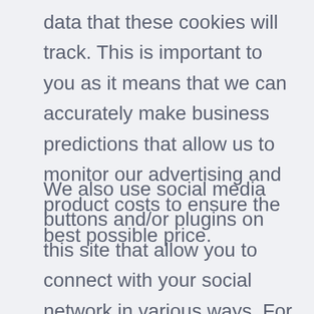data that these cookies will track. This is important to you as it means that we can accurately make business predictions that allow us to monitor our advertising and product costs to ensure the best possible price.
We also use social media buttons and/or plugins on this site that allow you to connect with your social network in various ways. For these to work the following social media sites including